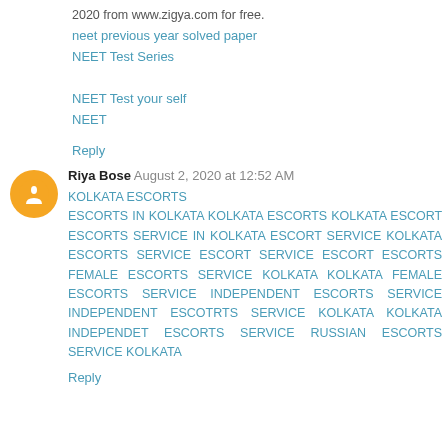2020 from www.zigya.com for free.
neet previous year solved paper
NEET Test Series
NEET Test your self
NEET
Reply
Riya Bose  August 2, 2020 at 12:52 AM
KOLKATA ESCORTS ESCORTS IN KOLKATA KOLKATA ESCORTS KOLKATA ESCORT ESCORTS SERVICE IN KOLKATA ESCORT SERVICE KOLKATA ESCORTS SERVICE ESCORT SERVICE ESCORT ESCORTS FEMALE ESCORTS SERVICE KOLKATA KOLKATA FEMALE ESCORTS SERVICE INDEPENDENT ESCORTS SERVICE INDEPENDENT ESCOTRTS SERVICE KOLKATA KOLKATA INDEPENDET ESCORTS SERVICE RUSSIAN ESCORTS SERVICE KOLKATA
Reply